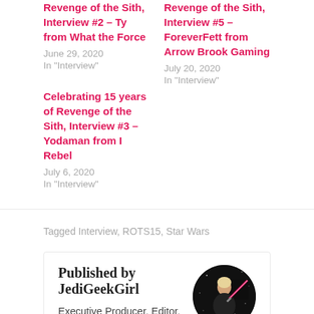Revenge of the Sith, Interview #2 – Ty from What the Force
June 29, 2020
In "Interview"
Revenge of the Sith, Interview #5 – ForeverFett from Arrow Brook Gaming
July 20, 2020
In "Interview"
Celebrating 15 years of Revenge of the Sith, Interview #3 – Yodaman from I Rebel
July 6, 2020
In "Interview"
Tagged Interview, ROTS15, Star Wars
Published by JediGeekGirl
Executive Producer, Editor, and Host of I Rebel. Executive Editor, Writer and